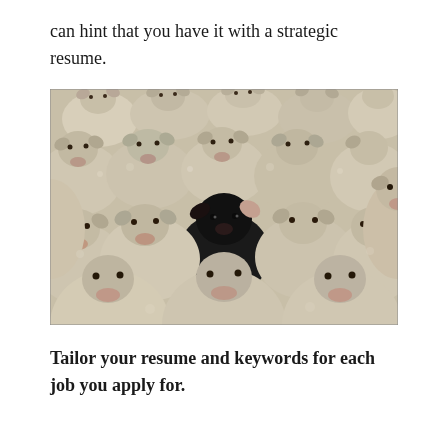can hint that you have it with a strategic resume.
[Figure (photo): A large flock of white sheep packed tightly together, with one black sheep standing out prominently in the center among them, symbolizing standing out from the crowd.]
Tailor your resume and keywords for each job you apply for.